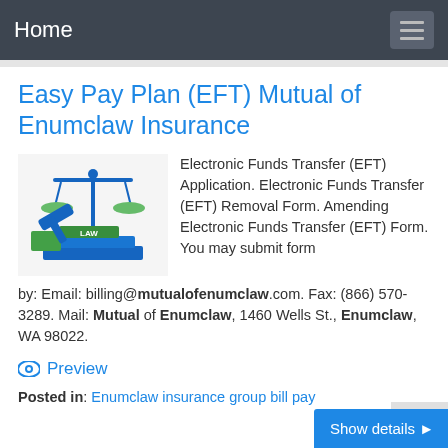Home
Easy Pay Plan (EFT) Mutual of Enumclaw Insurance
[Figure (illustration): Legal scales and gavel illustration with 'LAW' text books, in blue and green colors]
Electronic Funds Transfer (EFT) Application. Electronic Funds Transfer (EFT) Removal Form. Amending Electronic Funds Transfer (EFT) Form. You may submit form by: Email: billing@mutualofenumclaw.com. Fax: (866) 570-3289. Mail: Mutual of Enumclaw, 1460 Wells St., Enumclaw, WA 98022.
Preview
Posted in: Enumclaw insurance group bill pay